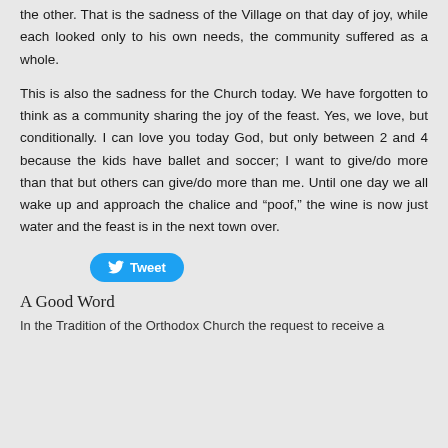the other. That is the sadness of the Village on that day of joy, while each looked only to his own needs, the community suffered as a whole.
This is also the sadness for the Church today. We have forgotten to think as a community sharing the joy of the feast. Yes, we love, but conditionally. I can love you today God, but only between 2 and 4 because the kids have ballet and soccer; I want to give/do more than that but others can give/do more than me. Until one day we all wake up and approach the chalice and “poof,” the wine is now just water and the feast is in the next town over.
[Figure (other): Tweet button with Twitter bird icon]
A Good Word
In the Tradition of the Orthodox Church the request to receive a